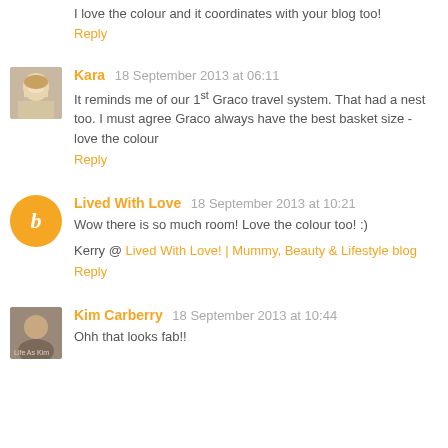I love the colour and it coordinates with your blog too!
Reply
Kara 18 September 2013 at 06:11
It reminds me of our 1st Graco travel system. That had a nest too. I must agree Graco always have the best basket size - love the colour
Reply
Lived With Love 18 September 2013 at 10:21
Wow there is so much room! Love the colour too! :)
Kerry @ Lived With Love! | Mummy, Beauty & Lifestyle blog
Reply
Kim Carberry 18 September 2013 at 10:44
Ohh that looks fab!!